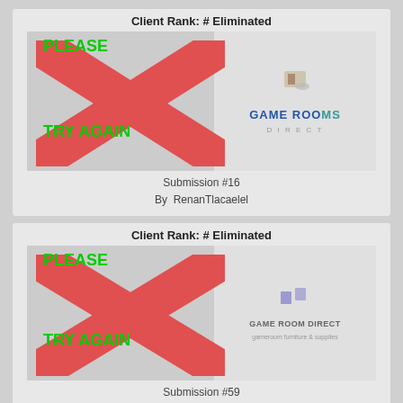Client Rank: # Eliminated
[Figure (screenshot): PLEASE TRY AGAIN image with large red X and Game Rooms watermark logo]
Submission #16
By  RenanTlacaelel
Client Rank: # Eliminated
[Figure (screenshot): PLEASE TRY AGAIN image with large red X and Game Room Direct watermark logo]
Submission #59
By  ikiwae